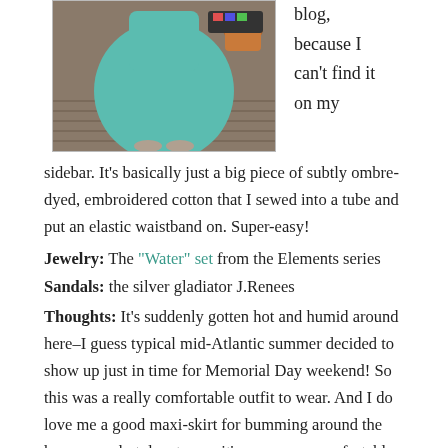[Figure (photo): A person wearing a teal embroidered maxi skirt standing on a wooden deck, with a terracotta pot visible in the background.]
blog, because I can't find it on my sidebar. It's basically just a big piece of subtly ombre-dyed, embroidered cotton that I sewed into a tube and put an elastic waistband on. Super-easy!
Jewelry: The "Water" set from the Elements series
Sandals: the silver gladiator J.Renees
Thoughts: It's suddenly gotten hot and humid around here–I guess typical mid-Atlantic summer decided to show up just in time for Memorial Day weekend! So this was a really comfortable outfit to wear. And I do love me a good maxi-skirt for bumming around the house on a hot day–to me, it's way more comfortable than shorts!